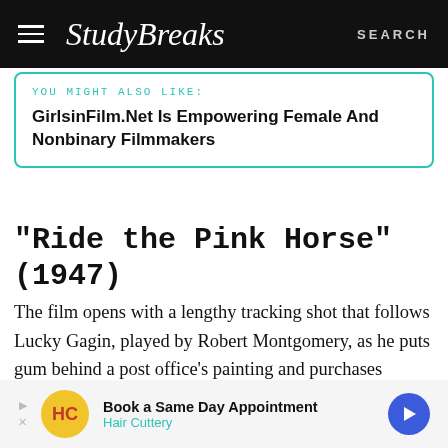StudyBreaks | SEARCH
YOU MIGHT ALSO LIKE:
GirlsinFilm.Net Is Empowering Female And Nonbinary Filmmakers
“Ride the Pink Horse” (1947)
The film opens with a lengthy tracking shot that follows Lucky Gagin, played by Robert Montgomery, as he puts gum behind a post office’s painting and purchases access to a temporary access to a locker. The purpose behind these actions are not made entirely clear
[Figure (screenshot): Advertisement banner: Hair Cuttery - Book a Same Day Appointment]